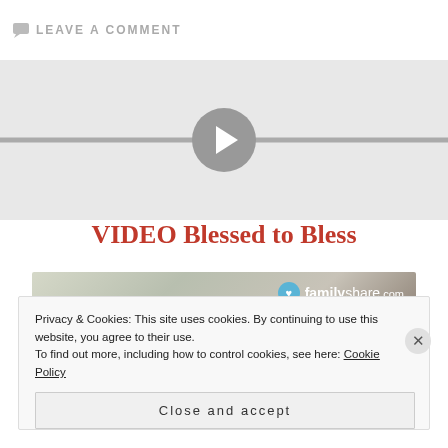LEAVE A COMMENT
[Figure (other): Video player placeholder with grey background, horizontal scrubber line, and circular play button in the center]
VIDEO Blessed to Bless
[Figure (photo): FamilyShare.com branded image with text 'Be a blessing' and partial subtitle, showing a person's face on the right side]
Privacy & Cookies: This site uses cookies. By continuing to use this website, you agree to their use.
To find out more, including how to control cookies, see here: Cookie Policy
Close and accept